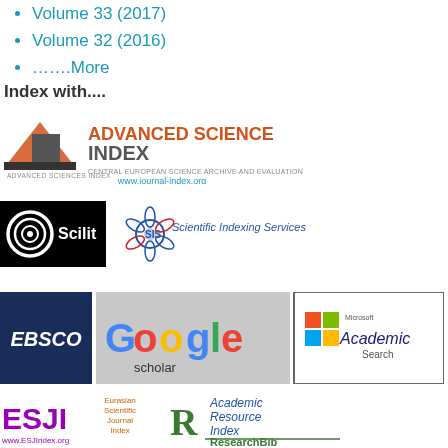Volume 33 (2017)
Volume 32 (2016)
…….More
Index with....
[Figure (logo): Advanced Science Index logo — Central European Science Archive and Evaluation, www.journal-index.org]
[Figure (logo): Scilit logo and Scientific Indexing Services (SIS) logo]
[Figure (logo): EBSCO logo, Google Scholar logo, Microsoft Academic Search logo]
[Figure (logo): ESJI (Eurasian Scientific Journal Index, www.ESJIndex.org), Eurasian Scientific Journal Index text logo, ResearchBib Academic Resource Index logo]